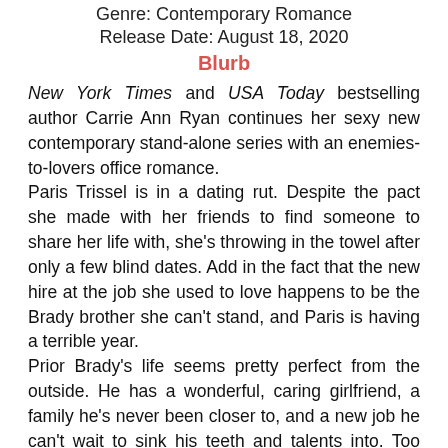Genre: Contemporary Romance
Release Date: August 18, 2020
Blurb
New York Times and USA Today bestselling author Carrie Ann Ryan continues her sexy new contemporary stand-alone series with an enemies-to-lovers office romance.
Paris Trissel is in a dating rut. Despite the pact she made with her friends to find someone to share her life with, she's throwing in the towel after only a few blind dates. Add in the fact that the new hire at the job she used to love happens to be the Brady brother she can't stand, and Paris is having a terrible year.
Prior Brady's life seems pretty perfect from the outside. He has a wonderful, caring girlfriend, a family he's never been closer to, and a new job he can't wait to sink his teeth and talents into. Too bad the woman he has